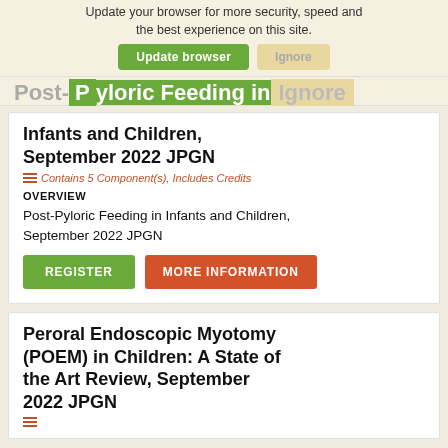Update your browser for more security, speed and the best experience on this site.
Post-Pyloric Feeding in Infants and Children, September 2022 JPGN
Contains 5 Component(s), Includes Credits
OVERVIEW
Post-Pyloric Feeding in Infants and Children, September 2022 JPGN
REGISTER
MORE INFORMATION
Peroral Endoscopic Myotomy (POEM) in Children: A State of the Art Review, September 2022 JPGN